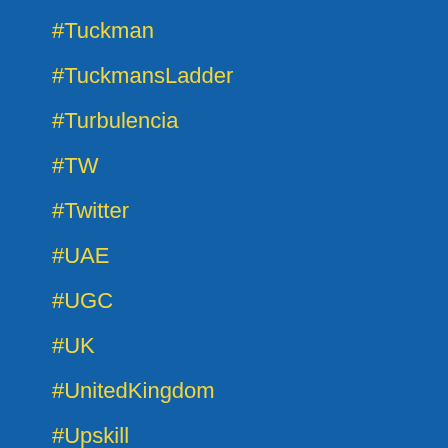#Tuckman
#TuckmansLadder
#Turbulencia
#TW
#Twitter
#UAE
#UGC
#UK
#UnitedKingdom
#Upskill